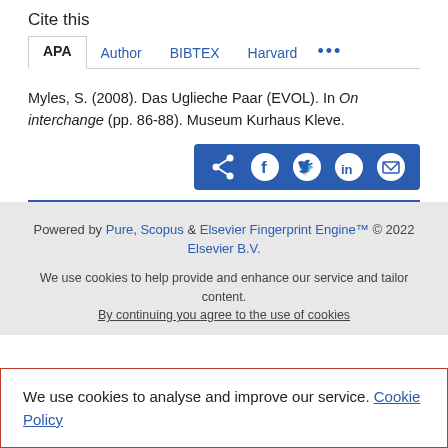Cite this
APA   Author   BIBTEX   Harvard   ...
Myles, S. (2008). Das Uglieche Paar (EVOL). In On interchange (pp. 86-88). Museum Kurhaus Kleve.
[Figure (other): Social share buttons row: share, facebook, twitter, linkedin, email icons on blue background]
Powered by Pure, Scopus & Elsevier Fingerprint Engine™ © 2022 Elsevier B.V.
We use cookies to help provide and enhance our service and tailor content. By continuing you agree to the use of cookies
We use cookies to analyse and improve our service. Cookie Policy